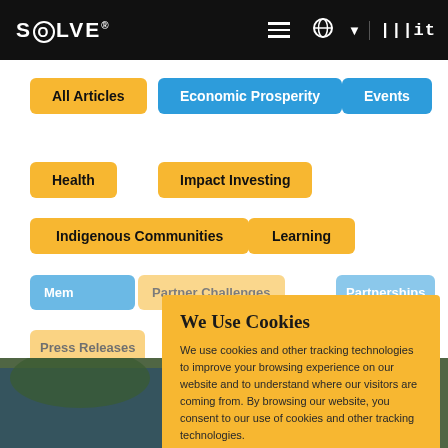SOLVE® | MIT — navigation bar with menu, language globe, and MIT logo
All Articles
Economic Prosperity
Events
Health
Impact Investing
Indigenous Communities
Learning
Membership
Partner Challenges
Partnerships
Press Releases
Sponsorship
Sustainability
We Use Cookies
We use cookies and other tracking technologies to improve your browsing experience on our website and to understand where our visitors are coming from. By browsing our website, you consent to our use of cookies and other tracking technologies.
ACCEPT
REJECT
[Figure (photo): Background photo strip showing people in an outdoor setting with blue tarps]